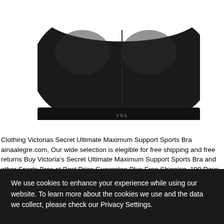[Figure (photo): Black VSX Victoria's Secret sports bra on white background, viewed from front/top angle. The bra is dark black with smooth fabric and the VSX logo visible at the bottom center.]
Clothing Victorias Secret Ultimate Maximum Support Sports Bra ainaalegre.com, Our wide selection is elegible for free shipping and free returns Buy Victoria's Secret Ultimate Maximum Support Sports Bra and other Sports Bras at Best Price Guarantee Plus Free Shipping. 100 Days Free Returns, Victorias Secret Ultimate Maximum Support Sports Bra Best choice for every a customers to get authentic goods. Fast
We use cookies to enhance your experience while using our website. To learn more about the cookies we use and the data we collect, please check our Privacy Settings.